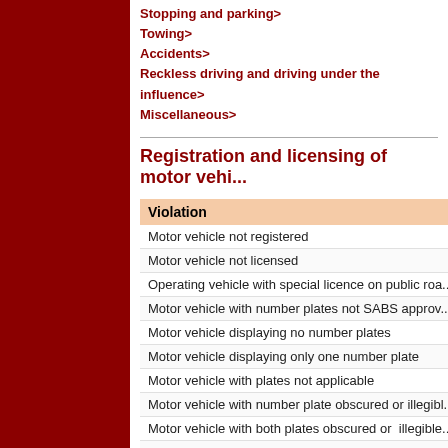Stopping and parking>
Towing>
Accidents>
Reckless driving and driving under the influence>
Miscellaneous>
Registration and licensing of motor vehi...
| Violation |
| --- |
| Motor vehicle not registered |
| Motor vehicle not licensed |
| Operating vehicle with special licence on public roa... |
| Motor vehicle with number plates not SABS approv... |
| Motor vehicle displaying no number plates |
| Motor vehicle displaying only one number plate |
| Motor vehicle with plates not applicable |
| Motor vehicle with number plate obscured or illegibl... |
| Motor vehicle with both plates obscured or  illegible... |
| Licence disc not displayed |
| Licence disc obscured or illegible |
| Licence disc on trailer exposed to weather... |